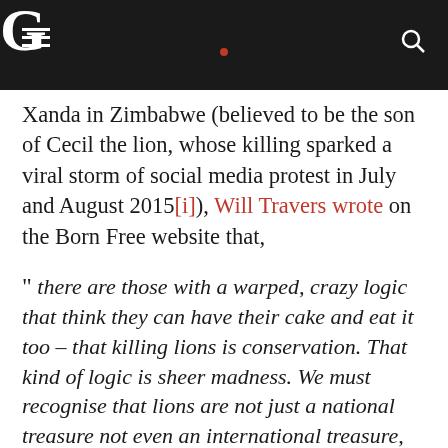G (The Guardian logo)
Xanda in Zimbabwe (believed to be the son of Cecil the lion, whose killing sparked a viral storm of social media protest in July and August 2015[i]), Will Travers wrote on the Born Free website that,
" there are those with a warped, crazy logic that think they can have their cake and eat it too – that killing lions is conservation. That kind of logic is sheer madness. We must recognise that lions are not just a national treasure not even an international treasure, but a natural treasure that belongs to the world. We all need to step up and find ways to fund wildlife conservation – including lions –